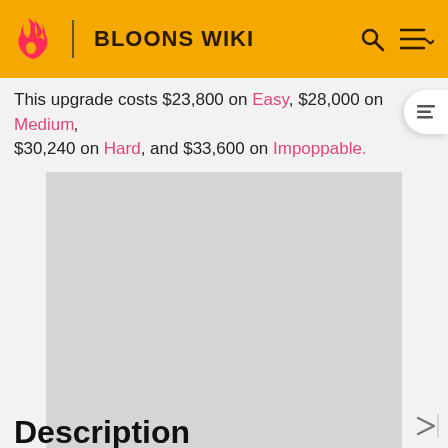BLOONS WIKI
This upgrade costs $23,800 on Easy, $28,000 on Medium, $30,240 on Hard, and $33,600 on Impoppable.
[Figure (other): Advertisement placeholder - grey rectangle]
ADVERTISEMENT
Description